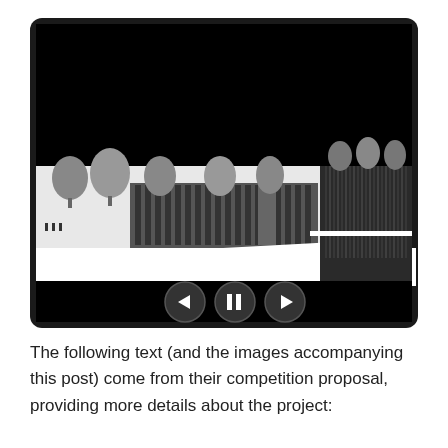[Figure (screenshot): A screenshot of a media player interface showing a black interface with a slideshow or video player. The visible content shows an architectural rendering in black and white — a building section/elevation with trees, columns, and a tower-like structure on the left portion, and a dark textured vertical element on the right. Below the image are three circular navigation/control buttons: a left arrow, a pause button, and a right arrow, on a black background.]
The following text (and the images accompanying this post) come from their competition proposal, providing more details about the project: